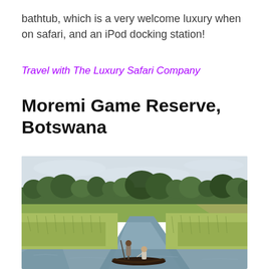bathtub, which is a very welcome luxury when on safari, and an iPod docking station!
Travel with The Luxury Safari Company
Moremi Game Reserve, Botswana
[Figure (photo): Two people on a mokoro (dugout canoe) navigating shallow waterways through tall grass marshland in the Okavango Delta, Botswana. Green trees line the horizon under an overcast sky.]